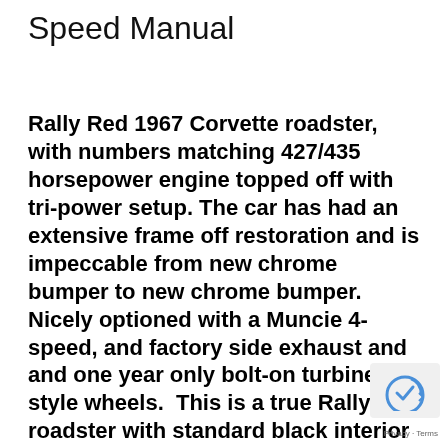Speed Manual
Rally Red 1967 Corvette roadster, with numbers matching 427/435 horsepower engine topped off with tri-power setup. The car has had an extensive frame off restoration and is impeccable from new chrome bumper to new chrome bumper. Nicely optioned with a Muncie 4-speed, and factory side exhaust and and one year only bolt-on turbine style wheels.  This is a true Rally Red roadster with standard black interior and great attention to detail. This authentic 427/435 h big block car is authenticated by numbers matching and date code